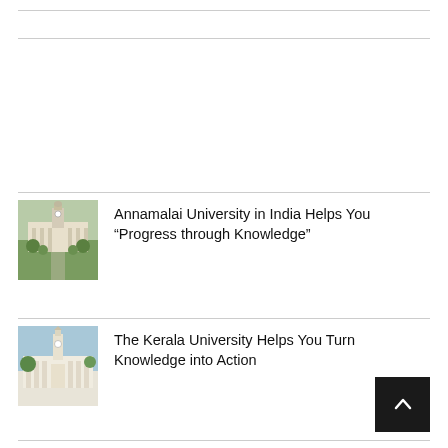[Figure (photo): Photo of Annamalai University building with clock tower and gardens]
Annamalai University in India Helps You “Progress through Knowledge”
[Figure (photo): Photo of Kerala University building with white clock tower and columns]
The Kerala University Helps You Turn Knowledge into Action